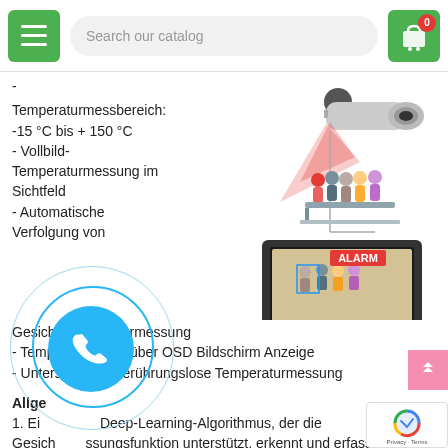Search our catalog
- Temperaturmessbereich: -15 °C bis + 150 °C
- Vollbild-Temperaturmessung im Sichtfeld
- Automatische Verfolgung von
[Figure (illustration): Thermal camera illustration scanning a group of people at a counter, with a laptop screen showing an alarm alert below]
Gesichtstemperaturmessung
- Temperaturdaten über OSD Bildschirm Anzeige
- Unterstützt die berührungslose Temperaturmessung
Allge...
1. Ein... Deep-Learning-Algorithmus, der die Gesich...ssungsfunktion unterstützt, erkennt und erfasst 15 Gesichter gleichzeitig.
2. Gesichtsverfolgung und -bewertung, Erkennung mehrerer Bilder,